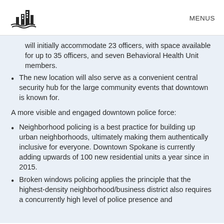MENUS
will initially accommodate 23 officers, with space available for up to 35 officers, and seven Behavioral Health Unit members.
The new location will also serve as a convenient central security hub for the large community events that downtown is known for.
A more visible and engaged downtown police force:
Neighborhood policing is a best practice for building up urban neighborhoods, ultimately making them authentically inclusive for everyone. Downtown Spokane is currently adding upwards of 100 new residential units a year since in 2015.
Broken windows policing applies the principle that the highest-density neighborhood/business district also requires a concurrently high level of police presence and